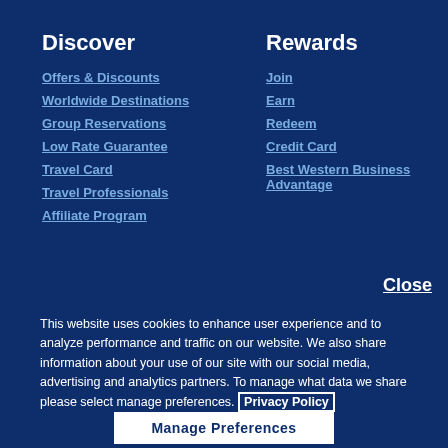Discover
Offers & Discounts
Worldwide Destinations
Group Reservations
Low Rate Guarantee
Travel Card
Travel Professionals
Affiliate Program
Rewards
Join
Earn
Redeem
Credit Card
Best Western Business Advantage
Close
This website uses cookies to enhance user experience and to analyze performance and traffic on our website. We also share information about your use of our site with our social media, advertising and analytics partners. To manage what data we share please select manage preferences. Privacy Policy
Manage Preferences